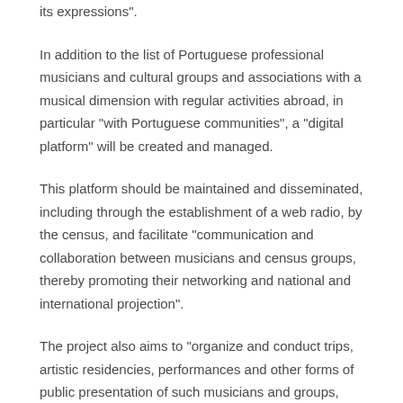its expressions".
In addition to the list of Portuguese professional musicians and cultural groups and associations with a musical dimension with regular activities abroad, in particular "with Portuguese communities", a "digital platform" will be created and managed.
This platform should be maintained and disseminated, including through the establishment of a web radio, by the census, and facilitate "communication and collaboration between musicians and census groups, thereby promoting their networking and national and international projection".
The project also aims to "organize and conduct trips, artistic residencies, performances and other forms of public presentation of such musicians and groups, thereby enabling the promotion of forms and musical agents of the Portuguese Diaspora to be achieved."